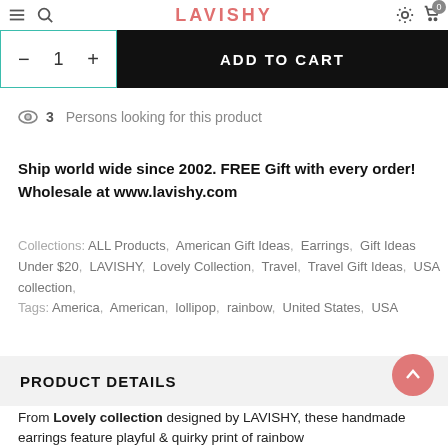LAVISHY
[Figure (screenshot): Add to cart section with quantity selector showing '1' and black ADD TO CART button]
3 Persons looking for this product
Ship world wide since 2002. FREE Gift with every order! Wholesale at www.lavishy.com
Collections: ALL Products, American Gift Ideas, Earrings, Gift Ideas Under $20, LAVISHY, Lovely Collection, Travel, Travel Gift Ideas, USA collection,
Tags: America, American, lollipop, rainbow, United States, USA
PRODUCT DETAILS
From Lovely collection designed by LAVISHY, these handmade earrings feature playful & quirky print of rainbow lollipop. They are a perfect accessory and a wonderful gift for...